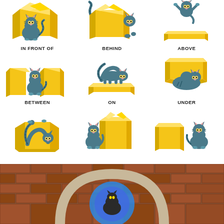[Figure (illustration): Educational infographic showing a cartoon cat demonstrating prepositions of place with yellow boxes. Nine illustrations: IN FRONT OF, BEHIND, ABOVE, BETWEEN, ON, UNDER, IN, NEAR, BESIDE]
[Figure (photo): Photograph of a real cat sitting in or near an archway made of brick, with a blue circular element visible]